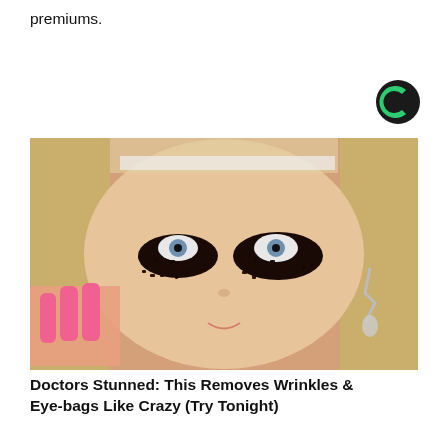premiums.
[Figure (logo): Circular logo with green and black colors, resembling a 'C' shape]
[Figure (photo): Close-up photo of a blonde woman applying dark granular substance (coffee grounds or similar) under her eyes with pink-painted fingernails, wearing drop earrings]
Doctors Stunned: This Removes Wrinkles & Eye-bags Like Crazy (Try Tonight)